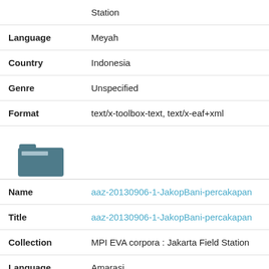| Station |  |
| Language | Meyah |
| Country | Indonesia |
| Genre | Unspecified |
| Format | text/x-toolbox-text, text/x-eaf+xml |
[Figure (illustration): Folder icon, teal/slate blue colored folder graphic]
| Name | aaz-20130906-1-JakopBani-percakapan |
| Title | aaz-20130906-1-JakopBani-percakapan |
| Collection | MPI EVA corpora : Jakarta Field Station |
| Language | Amarasi |